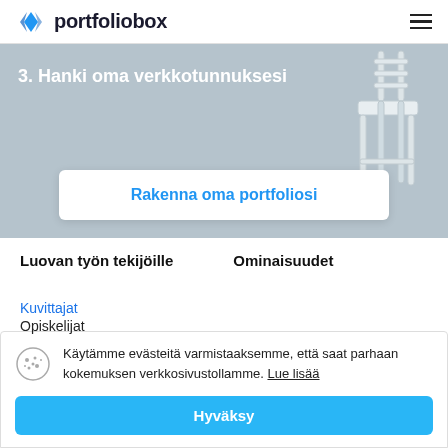portfoliobox
[Figure (screenshot): Hero banner with light blue-grey background showing a white chair on the right side. Text reads '3. Hanki oma verkkotunnuksesi' with a white CTA box containing 'Rakenna oma portfoliosi' link.]
3. Hanki oma verkkotunnuksesi
Rakenna oma portfoliosi
Luovan työn tekijöille
Ominaisuudet
Käytämme evästeitä varmistaaksemme, että saat parhaan kokemuksen verkkosivustollamme. Lue lisää
Hyväksy
Kuvittajat
Opiskelijat